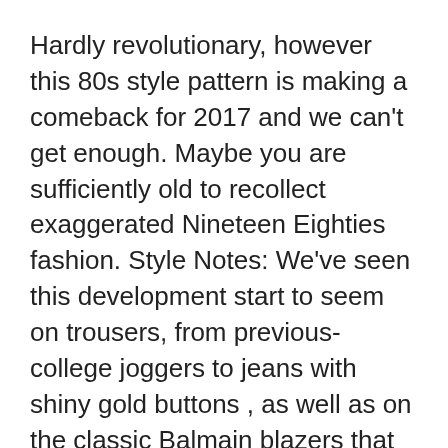Hardly revolutionary, however this 80s style pattern is making a comeback for 2017 and we can't get enough. Maybe you are sufficiently old to recollect exaggerated Nineteen Eighties fashion. Style Notes: We've seen this development start to seem on trousers, from previous-college joggers to jeans with shiny gold buttons , as well as on the classic Balmain blazers that remain endlessly common.
[Figure (photo): Broken image placeholder icon with '80s fashion' caption text]
Out of your mother's neon jazzercising garments, to your little sister's vibrant